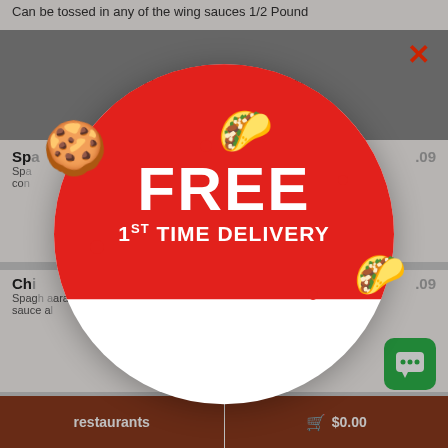Can be tossed in any of the wing sauces 1/2 Pound
Sp... $...09
Sp... co...
Ch... $...09
Spag... aara sauce a...
Chicken Fet... $11.55
[Figure (infographic): Circular promotional popup for JackRabbit Deliveries offering FREE 1ST TIME DELIVERY. Use code FIRSTORDER, max value $5.00. Decorated with cookie and taco illustrations.]
restaurants
$0.00